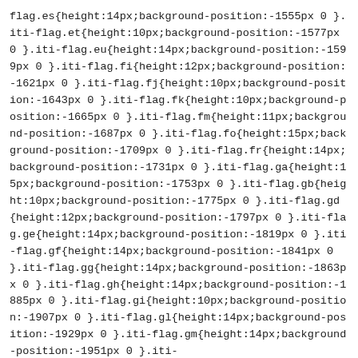flag.es{height:14px;background-position:-1555px 0 }.iti-flag.et{height:10px;background-position:-1577px 0 }.iti-flag.eu{height:14px;background-position:-1599px 0 }.iti-flag.fi{height:12px;background-position:-1621px 0 }.iti-flag.fj{height:10px;background-position:-1643px 0 }.iti-flag.fk{height:10px;background-position:-1665px 0 }.iti-flag.fm{height:11px;background-position:-1687px 0 }.iti-flag.fo{height:15px;background-position:-1709px 0 }.iti-flag.fr{height:14px;background-position:-1731px 0 }.iti-flag.ga{height:15px;background-position:-1753px 0 }.iti-flag.gb{height:10px;background-position:-1775px 0 }.iti-flag.gd{height:12px;background-position:-1797px 0 }.iti-flag.ge{height:14px;background-position:-1819px 0 }.iti-flag.gf{height:14px;background-position:-1841px 0 }.iti-flag.gg{height:14px;background-position:-1863px 0 }.iti-flag.gh{height:14px;background-position:-1885px 0 }.iti-flag.gi{height:10px;background-position:-1907px 0 }.iti-flag.gl{height:14px;background-position:-1929px 0 }.iti-flag.gm{height:14px;background-position:-1951px 0 }.iti-